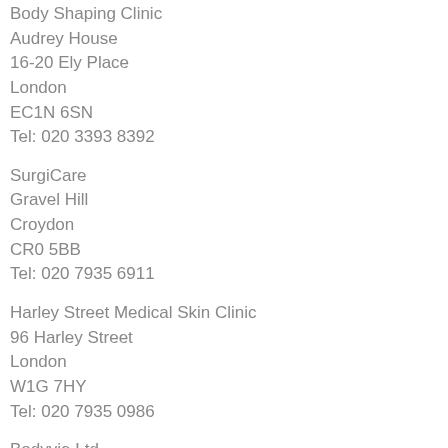Body Shaping Clinic
Audrey House
16-20 Ely Place
London
EC1N 6SN
Tel: 020 3393 8392
SurgiCare
Gravel Hill
Croydon
CR0 5BB
Tel: 020 7935 6911
Harley Street Medical Skin Clinic
96 Harley Street
London
W1G 7HY
Tel: 020 7935 0986
Bodyvie Ltd
133-135 Kew Road
Richmond